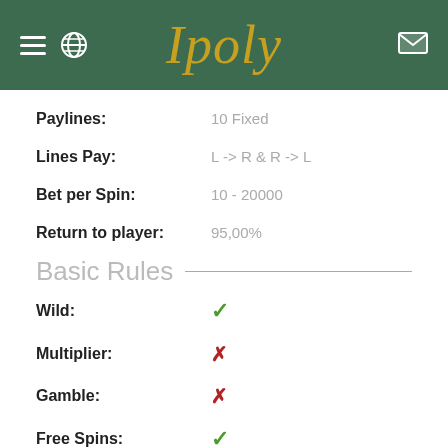Ipoly
Paylines: 10 Fixed
Lines Pay: L -> R & R -> L
Bet per Spin: 10 - 20000
Return to player: 95,00%
Basic Rules
Wild: ✓
Multiplier: ✗
Gamble: ✗
Free Spins: ✓
Bonus Round: ✗